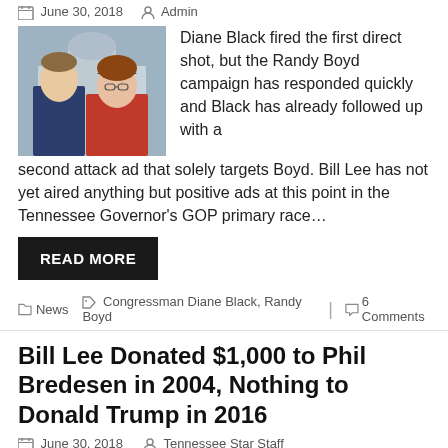June 30, 2018   Admin
[Figure (photo): Two politicians, a man in a suit and a woman in red, with a government building in background]
Diane Black fired the first direct shot, but the Randy Boyd campaign has responded quickly and Black has already followed up with a second attack ad that solely targets Boyd. Bill Lee has not yet aired anything but positive ads at this point in the Tennessee Governor's GOP primary race…
READ MORE
News   Congressman Diane Black, Randy Boyd   6 Comments
Bill Lee Donated $1,000 to Phil Bredesen in 2004, Nothing to Donald Trump in 2016
June 30, 2018   Tennessee Star Staff
[Figure (photo): Bill Lee, Republican gubernatorial candidate, standing in front of a government building]
Republican gubernatorial candidate Bill Lee donated $1,000 to Phil Bredesen's campaign in 2004, when the current Democrat candidate for